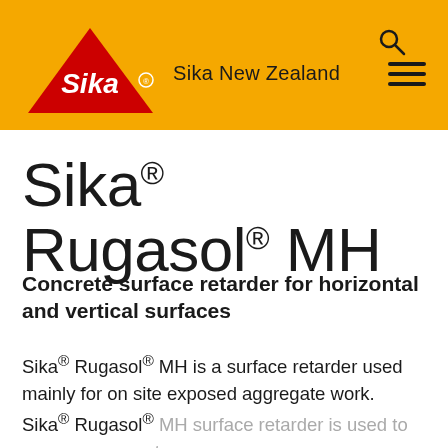[Figure (logo): Sika yellow header bar with Sika logo (red triangle with white Sika script), 'Sika New Zealand' text, search icon, and hamburger menu icon]
Sika® Rugasol® MH
Concrete surface retarder for horizontal and vertical surfaces
Sika® Rugasol® MH is a surface retarder used mainly for on site exposed aggregate work. Sika® Rugasol® MH surface retarder is used to expose aggregate o...